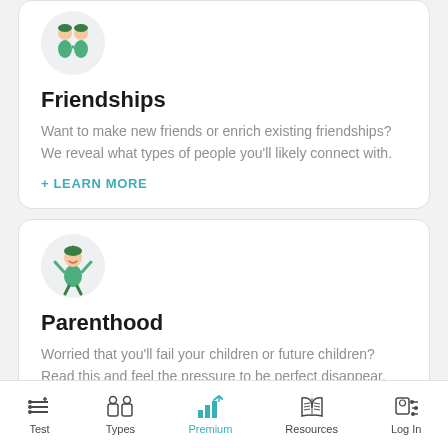[Figure (illustration): Illustration of two cartoon figures with green outfits on a light grey circular background, representing friendship]
Friendships
Want to make new friends or enrich existing friendships? We reveal what types of people you'll likely connect with.
+ LEARN MORE
[Figure (illustration): Illustration of a cheerful cartoon child in a green dress with arms raised, on a light grey circular background, representing parenthood]
Parenthood
Worried that you'll fail your children or future children? Read this and feel the pressure to be perfect disappear.
Test  Types  Premium  Resources  Log In